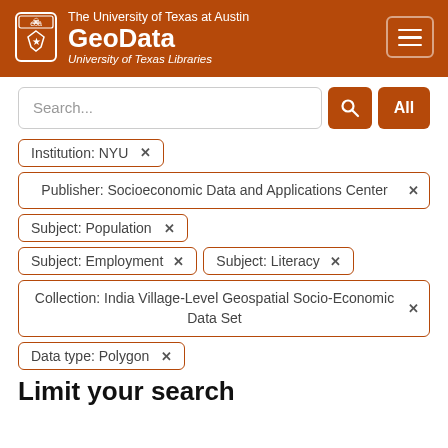The University of Texas at Austin GeoData University of Texas Libraries
Search...
Institution: NYU ✕
Publisher: Socioeconomic Data and Applications Center ✕
Subject: Population ✕
Subject: Employment ✕
Subject: Literacy ✕
Collection: India Village-Level Geospatial Socio-Economic Data Set ✕
Data type: Polygon ✕
Limit your search